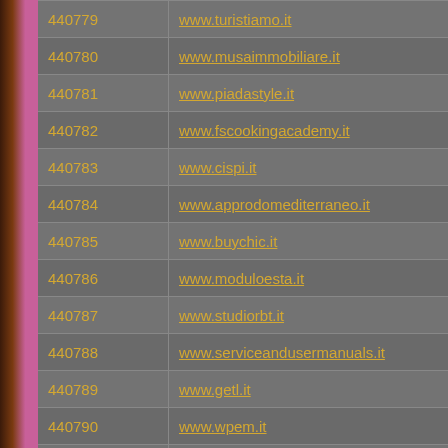| ID | URL |
| --- | --- |
| 440779 | www.turistiamo.it |
| 440780 | www.musaimmobiliare.it |
| 440781 | www.piadastyle.it |
| 440782 | www.fscookingacademy.it |
| 440783 | www.cispi.it |
| 440784 | www.approdomediterraneo.it |
| 440785 | www.buychic.it |
| 440786 | www.moduloesta.it |
| 440787 | www.studiorbt.it |
| 440788 | www.serviceandusermanuals.it |
| 440789 | www.getl.it |
| 440790 | www.wpem.it |
| 440791 | www.masseriatutosa.it |
| 440792 | www.lavanderiapalterasrl.it |
| 440793 | www.desanto.it |
| 440794 | www.route50.it |